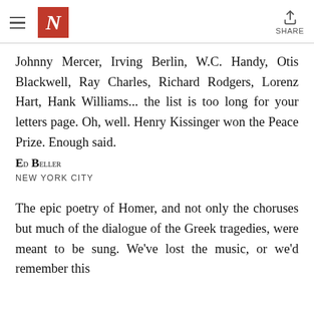The New Yorker — navigation header with hamburger menu, N logo, and Share button
Johnny Mercer, Irving Berlin, W.C. Handy, Otis Blackwell, Ray Charles, Richard Rodgers, Lorenz Hart, Hank Williams... the list is too long for your letters page. Oh, well. Henry Kissinger won the Peace Prize. Enough said.
Ed Beller
NEW YORK CITY
The epic poetry of Homer, and not only the choruses but much of the dialogue of the Greek tragedies, were meant to be sung. We've lost the music, or we'd remember this